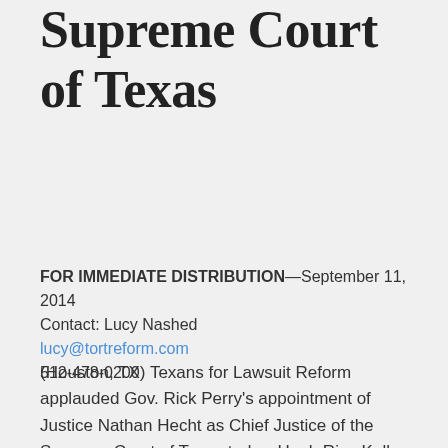Supreme Court of Texas
FOR IMMEDIATE DISTRIBUTION—September 11, 2014
Contact: Lucy Nashed
lucy@tortreform.com
512-478-0200
(Houston, TX) Texans for Lawsuit Reform applauded Gov. Rick Perry's appointment of Justice Nathan Hecht as Chief Justice of the Supreme Court of Texas today. Hugh Rice Kelly, TLR General Counsel said: